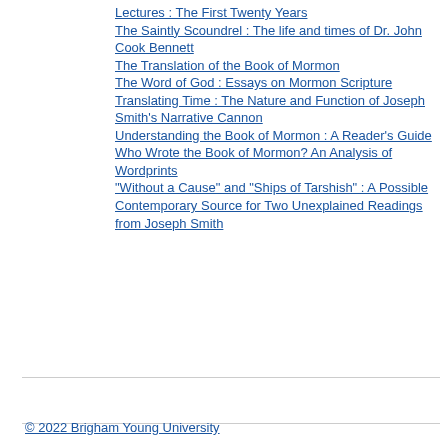Lectures : The First Twenty Years
The Saintly Scoundrel : The life and times of Dr. John Cook Bennett
The Translation of the Book of Mormon
The Word of God : Essays on Mormon Scripture
Translating Time : The Nature and Function of Joseph Smith's Narrative Cannon
Understanding the Book of Mormon : A Reader's Guide
Who Wrote the Book of Mormon? An Analysis of Wordprints
"Without a Cause" and "Ships of Tarshish" : A Possible Contemporary Source for Two Unexplained Readings from Joseph Smith
© 2022 Brigham Young University